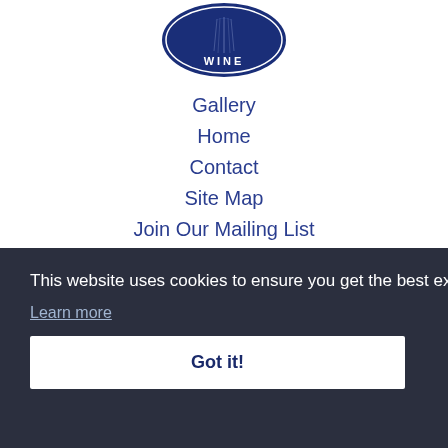[Figure (logo): Blue circular wine badge/seal logo showing 'WINE' text at bottom with decorative elements, dark navy blue color]
Gallery
Home
Contact
Site Map
Join Our Mailing List
This website uses cookies to ensure you get the best experience on our website.
Learn more
Got it!